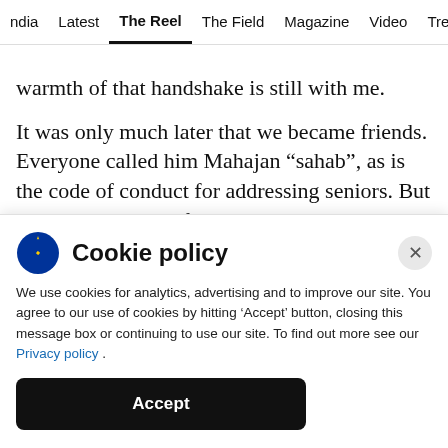ndia  Latest  The Reel  The Field  Magazine  Video  Trend
warmth of that handshake is still with me.
It was only much later that we became friends. Everyone called him Mahajan “sahab”, as is the code of conduct for addressing seniors. But I don’t know how, for me, the sahab got dropped. He’s always been KK for me, though he always knew how much I respected his work.
Cookie policy
We use cookies for analytics, advertising and to improve our site. You agree to our use of cookies by hitting ‘Accept’ button, closing this message box or continuing to use our site. To find out more see our Privacy policy .
Accept